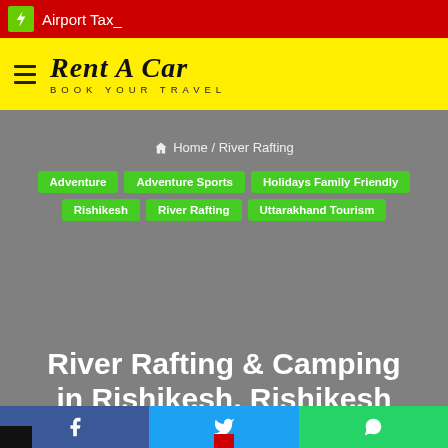Airport Tax_
Rent A Car
BOOK YOUR TRAVEL
Home / River Rafting
Adventure
Adventure Sports
Holidays Family Friendly
Rishikesh
River Rafting
Uttarakhand Tourism
River Rafting & Camping in Rishikesh, Rishikesh Rafting Camping